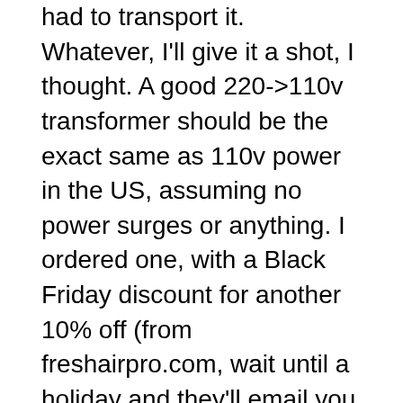had to transport it. Whatever, I'll give it a shot, I thought. A good 220->110v transformer should be the exact same as 110v power in the US, assuming no power surges or anything. I ordered one, with a Black Friday discount for another 10% off (from freshairpro.com, wait until a holiday and they'll email you a discount code if you're on their list. Most recent code is from labor day 2016: LABORDAY).
It came, and my plan was to take it with me on the plane as a checked bag. It fit within the weight limits, but there was a problem: the size. The airlines limit by length+width+height in addition to weight, and the purifier was just a couple inches over. No worries: my Dad is a master packer (and pilot himself) so we tore it open and started looking for a way to reduce the size. It wasn't too hard actually, if you take off the bottom stand that the wheels connect to, you save a few inches. I put